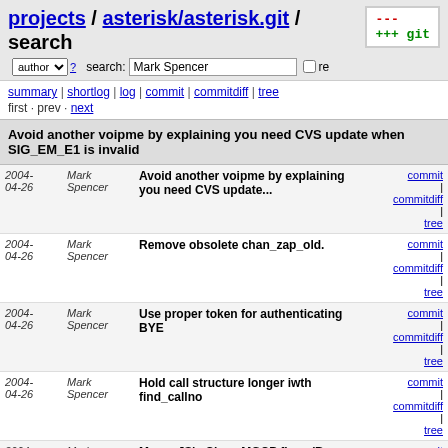projects / asterisk/asterisk.git / search
author ? search: Mark Spencer re
summary | shortlog | log | commit | commitdiff | tree
first · prev · next
Avoid another voipme by explaining you need CVS update when SIG_EM_E1 is invalid
| Date | Author | Message | Links |
| --- | --- | --- | --- |
| 2004-04-26 | Mark Spencer | Avoid another voipme by explaining you need CVS update... | commit | commitdiff | tree |
| 2004-04-26 | Mark Spencer | Remove obsolete chan_zap_old. | commit | commitdiff | tree |
| 2004-04-26 | Mark Spencer | Use proper token for authenticating BYE | commit | commitdiff | tree |
| 2004-04-26 | Mark Spencer | Hold call structure longer iwth find_callno | commit | commitdiff | tree |
| 2004-04-26 | Mark Spencer | Merge JS's Cisco MGCP fixes (Bug #693) | commit | commitdiff | tree |
| 2004-04-26 | Mark Spencer | Clean up SQL queries (bug #1479) | commit | commitdiff | tree |
| 2004-04-26 | Mark Spencer | Also handle properly \r\n instead of just \n... | commit | commitdiff | tree |
| 2004-04-26 | Mark Spencer | Committed a little bit too quickly there. | commit | commitdiff | tree |